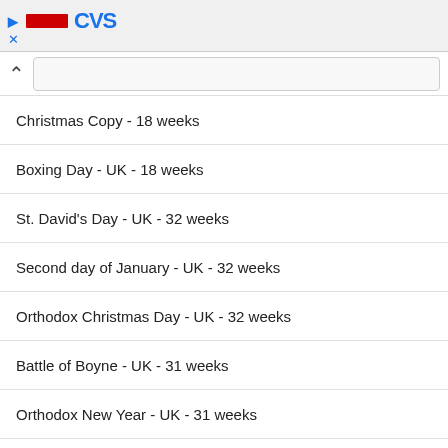CVS ad banner with close button
Christmas Copy - 18 weeks
Boxing Day - UK - 18 weeks
St. David's Day - UK - 32 weeks
Second day of January - UK - 32 weeks
Orthodox Christmas Day - UK - 32 weeks
Battle of Boyne - UK - 31 weeks
Orthodox New Year - UK - 31 weeks
St Patricks Day - UK - 30 weeks
March equinox - UK - 30 weeks
Shakespeare Day - UK - 29 weeks
St. George's Day - UK - 29 weeks